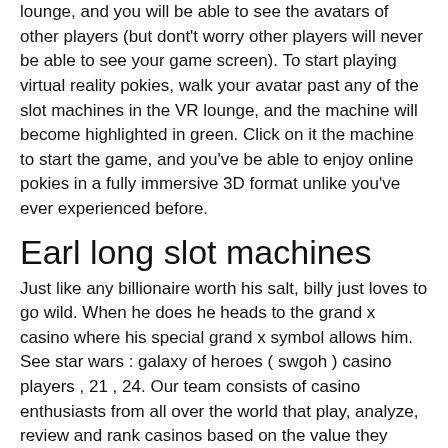lounge, and you will be able to see the avatars of other players (but dont't worry other players will never be able to see your game screen). To start playing virtual reality pokies, walk your avatar past any of the slot machines in the VR lounge, and the machine will become highlighted in green. Click on it the machine to start the game, and you've be able to enjoy online pokies in a fully immersive 3D format unlike you've ever experienced before.
Earl long slot machines
Just like any billionaire worth his salt, billy just loves to go wild. When he does he heads to the grand x casino where his special grand x symbol allows him. See star wars : galaxy of heroes ( swgoh ) casino players , 21 , 24. Our team consists of casino enthusiasts from all over the world that play, analyze, review and rank casinos based on the value they bring players.